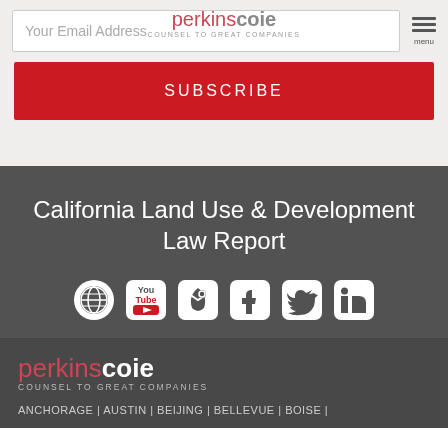Perkins Coie - Counsel To Great Companies
Your Email Address
SUBSCRIBE
California Land Use & Development Law Report
[Figure (logo): Social media icons: globe/website, YouTube, RSS feed, Facebook, Twitter, LinkedIn]
[Figure (logo): Perkins Coie logo - Counsel To Great Companies]
ANCHORAGE | AUSTIN | BEIJING | BELLEVUE | BOISE |